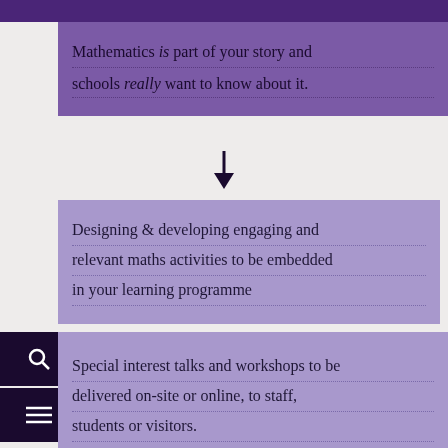Mathematics is part of your story and schools really want to know about it.
[Figure (other): Downward arrow indicating flow/sequence]
Designing & developing engaging and relevant maths activities to be embedded in your learning programme
Special interest talks and workshops to be delivered on-site or online, to staff, students or visitors.